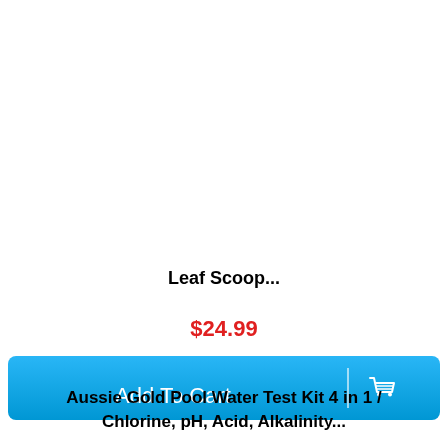Leaf Scoop...
$24.99
[Figure (other): Add To Cart button with shopping cart icon]
Aussie Gold Pool Water Test Kit 4 in 1 / Chlorine, pH, Acid, Alkalinity...